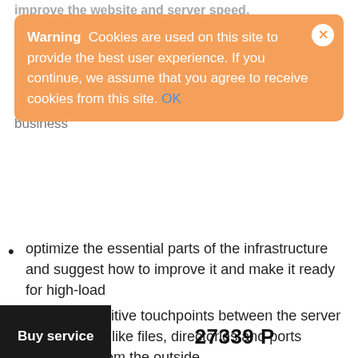[Figure (screenshot): Cookie warning overlay banner with orange background. Text reads: Warning  Cookies are used on this site to provide the best user experience. If you continue, we assume that you agree to receive cookies from this site. OK (link). Close button (X) in top right corner.]
optimize the essential parts of the infrastructure and suggest how to improve it and make it ready for high-load
hide the sensitive touchpoints between the server and the web, like files, directories and ports accessible from the outside
check the compatibility of the versions with each other
update the software if needed
Buy service    27339 P